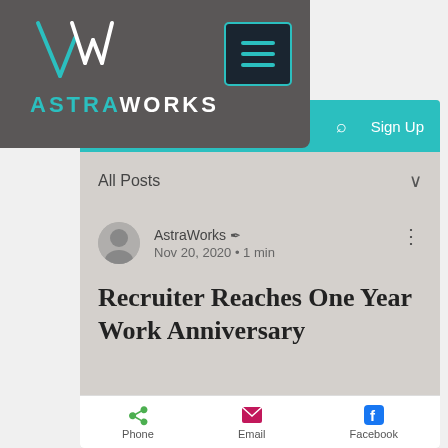[Figure (logo): AstraWorks logo on dark grey header background with teal AW monogram icon and hamburger menu button]
Post   Sign Up
All Posts
AstraWorks · Nov 20, 2020 · 1 min
Recruiter Reaches One Year Work Anniversary
Phone   Email   Facebook